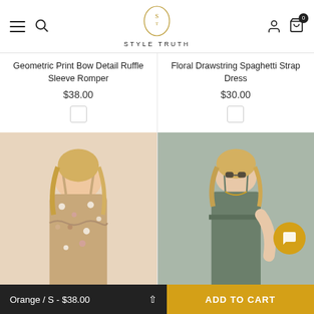Style Truth
Geometric Print Bow Detail Ruffle Sleeve Romper
$38.00
Floral Drawstring Spaghetti Strap Dress
$30.00
[Figure (photo): Woman wearing a floral print ruffle spaghetti strap romper]
[Figure (photo): Woman wearing an olive/army green spaghetti strap dress with drawstring waist]
Orange / S - $38.00
ADD TO CART